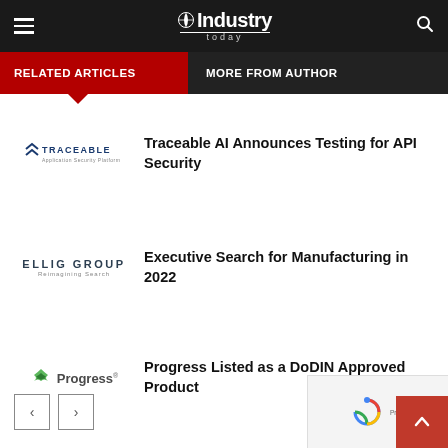Industry Today
RELATED ARTICLES | MORE FROM AUTHOR
Traceable AI Announces Testing for API Security
Executive Search for Manufacturing in 2022
Progress Listed as a DoDIN Approved Product